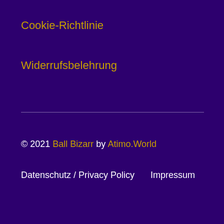Cookie-Richtlinie
Widerrufsbelehrung
© 2021 Ball Bizarr by Atimo.World
Datenschutz / Privacy Policy    Impressum